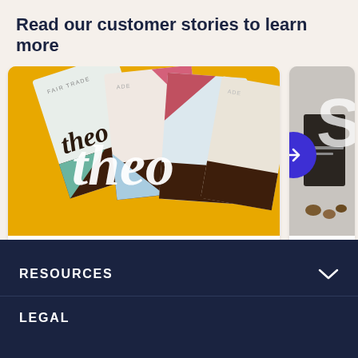Read our customer stories to learn more
[Figure (photo): Theo chocolate brand cards/packages fanned out on yellow background with white Theo script logo overlay, with stat: 360% increase in subscribers]
360% increase in subscribers
[Figure (photo): Partially visible second customer story card with dark product packaging on grey background, showing 50% increa... text, with blue arrow circle button overlay]
RESOURCES
LEGAL